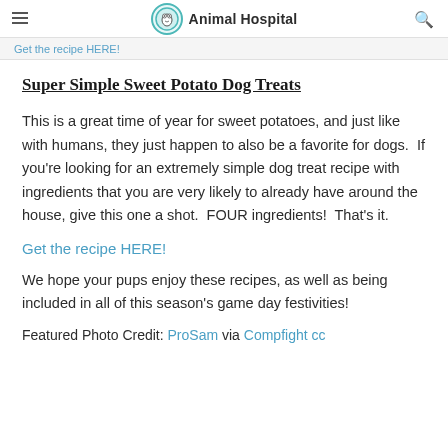Animal Hospital
Get the recipe HERE!
Super Simple Sweet Potato Dog Treats
This is a great time of year for sweet potatoes, and just like with humans, they just happen to also be a favorite for dogs.  If you're looking for an extremely simple dog treat recipe with ingredients that you are very likely to already have around the house, give this one a shot.  FOUR ingredients!  That's it.
Get the recipe HERE!
We hope your pups enjoy these recipes, as well as being included in all of this season's game day festivities!
Featured Photo Credit: ProSam via Compfight cc